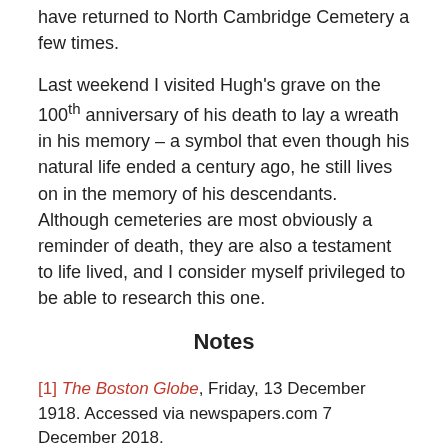have returned to North Cambridge Cemetery a few times.
Last weekend I visited Hugh’s grave on the 100th anniversary of his death to lay a wreath in his memory – a symbol that even though his natural life ended a century ago, he still lives on in the memory of his descendants. Although cemeteries are most obviously a reminder of death, they are also a testament to life lived, and I consider myself privileged to be able to research this one.
Notes
[1] The Boston Globe, Friday, 13 December 1918. Accessed via newspapers.com 7 December 2018.
[2] “Hugh A. Crossen,” Deaths Registered in the City of Boston, 1918, in Massachusetts State Vital Records 1841-1920. Family Search Film # 004966598. Page 345. Accessed via